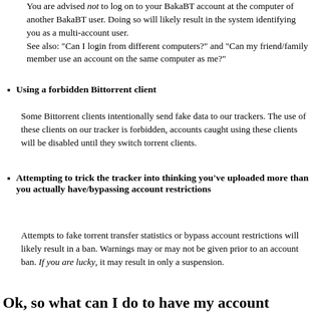You are advised not to log on to your BakaBT account at the computer of another BakaBT user. Doing so will likely result in the system identifying you as a multi-account user. See also: "Can I login from different computers?" and "Can my friend/family member use an account on the same computer as me?"
Using a forbidden Bittorrent client
Some Bittorrent clients intentionally send fake data to our trackers. The use of these clients on our tracker is forbidden, accounts caught using these clients will be disabled until they switch torrent clients.
Attempting to trick the tracker into thinking you've uploaded more than you actually have/bypassing account restrictions
Attempts to fake torrent transfer statistics or bypass account restrictions will likely result in a ban. Warnings may or may not be given prior to an account ban. If you are lucky, it may result in only a suspension.
Ok, so what can I do to have my account reenabled?